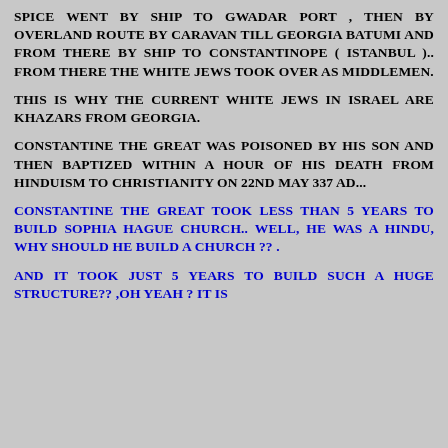SPICE WENT BY SHIP TO GWADAR PORT , THEN BY OVERLAND ROUTE BY CARAVAN TILL GEORGIA BATUMI AND FROM THERE BY SHIP TO CONSTANTINOPE ( ISTANBUL ).. FROM THERE THE WHITE JEWS TOOK OVER AS MIDDLEMEN.
THIS IS WHY THE CURRENT WHITE JEWS IN ISRAEL ARE KHAZARS FROM GEORGIA.
CONSTANTINE THE GREAT WAS POISONED BY HIS SON AND THEN BAPTIZED WITHIN A HOUR OF HIS DEATH FROM HINDUISM TO CHRISTIANITY ON 22ND MAY 337 AD...
CONSTANTINE THE GREAT TOOK LESS THAN 5 YEARS TO BUILD SOPHIA HAGUE CHURCH.. WELL, HE WAS A HINDU, WHY SHOULD HE BUILD A CHURCH ?? .
AND IT TOOK JUST 5 YEARS TO BUILD SUCH A HUGE STRUCTURE?? ,OH YEAH ? IT IS